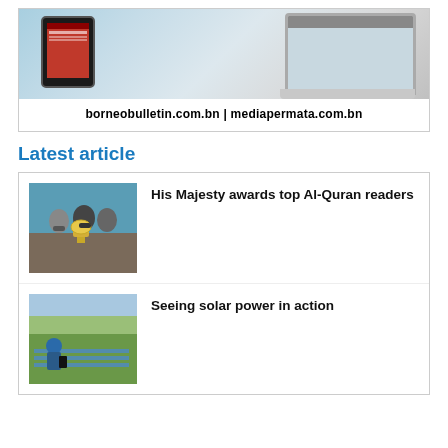[Figure (screenshot): Advertisement banner showing a tablet and laptop device with a newspaper website, displaying the URLs borneobulletin.com.bn and mediapermata.com.bn]
Latest article
[Figure (photo): Photo of people wearing face masks, one holding a large trophy cup, awarding ceremony scene]
His Majesty awards top Al-Quran readers
[Figure (photo): Photo of a person examining solar panels in an outdoor setting]
Seeing solar power in action